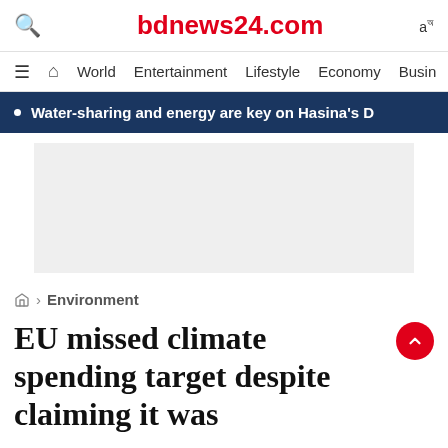bdnews24.com
World  Entertainment  Lifestyle  Economy  Busin
Water-sharing and energy are key on Hasina's D
[Figure (other): Advertisement placeholder, light grey rectangle]
Environment
EU missed climate spending target despite claiming it was
[Figure (other): Advertisement placeholder, light grey rectangle at bottom]